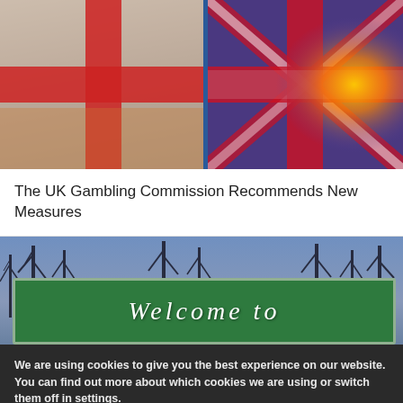[Figure (photo): Two flags — a white flag with a red cross (St. George's Cross / England) on the left, and a Union Jack flag on the right with a warm glowing orange light behind it, separated by a blue vertical divider.]
The UK Gambling Commission Recommends New Measures
[Figure (photo): A green Welcome sign (partial — reads 'Welcome to' with the bottom text cut off, likely 'New Jersey') against a blue sky with bare winter trees in the background.]
We are using cookies to give you the best experience on our website.
You can find out more about which cookies we are using or switch them off in settings.
Accept